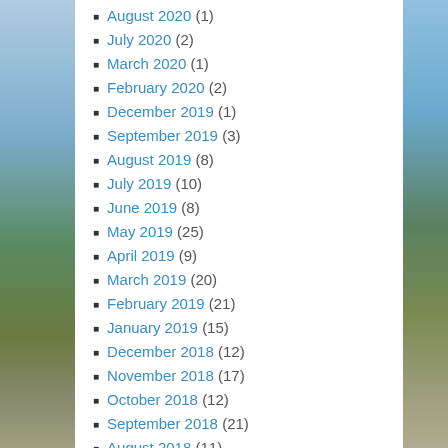August 2020 (1)
July 2020 (2)
March 2020 (1)
February 2020 (2)
December 2019 (1)
September 2019 (3)
August 2019 (8)
July 2019 (10)
June 2019 (8)
May 2019 (25)
April 2019 (9)
March 2019 (20)
February 2019 (21)
January 2019 (15)
December 2018 (12)
November 2018 (17)
October 2018 (12)
September 2018 (21)
August 2018 (11)
July 2018 (30)
June 2018 (12)